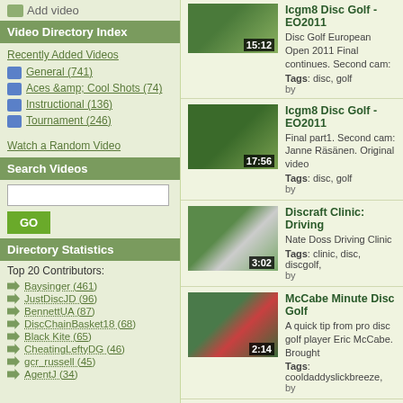Add video
Video Directory Index
Recently Added Videos
General (741)
Aces &amp; Cool Shots (74)
Instructional (136)
Tournament (246)
Watch a Random Video
Search Videos
Directory Statistics
Top 20 Contributors:
Baysinger (461)
JustDiscJD (96)
BennettUA (87)
DiscChainBasket18 (68)
Black Kite (65)
CheatingLeftyDG (46)
gcr_russell (45)
AgentJ (34)
[Figure (screenshot): Disc golf video thumbnail 15:12]
Icgm8 Disc Golf - EO2011 Final continues. Second cam: Tags: disc, golf
[Figure (screenshot): Disc golf video thumbnail 17:56]
Icgm8 Disc Golf - EO2011 Final part1. Second cam: Janne Räsänen. Original video Tags: disc, golf
[Figure (screenshot): Disc golf driving clinic thumbnail 3:02]
Discraft Clinic: Driving Nate Doss Driving Clinic Tags: clinic, disc, discgolf,
[Figure (screenshot): McCabe disc golf video thumbnail 2:14]
McCabe Minute Disc Golf A quick tip from pro disc golf player Eric McCabe. Brought Tags: cooldaddyslickbreeze,
[Figure (screenshot): Disc Golf Pro tip towel thumbnail 1:16]
Disc Golf Pro tip: Towel A little Hot tip sequence from Flying Disc Magazine's "Disc Tags: None...
[Figure (screenshot): Feldberg tips thumbnail 1:47]
feldberg tips for drives Disc golf video uploaded to DiscGolfScene.com Tags: disc, discgolf, frisbee,
[Figure (screenshot): Cale Leviska slo-mo drive thumbnail 0:15]
Cale Leviska, Cale Leviska Slo-mo drive. Tags: discgolf